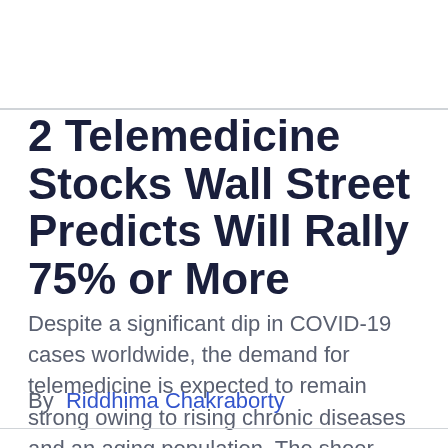2 Telemedicine Stocks Wall Street Predicts Will Rally 75% or More
Despite a significant dip in COVID-19 cases worldwide, the demand for telemedicine is expected to remain strong owing to rising chronic diseases and an aging population. The sheer convenience of...
By  Riddhima Chakraborty